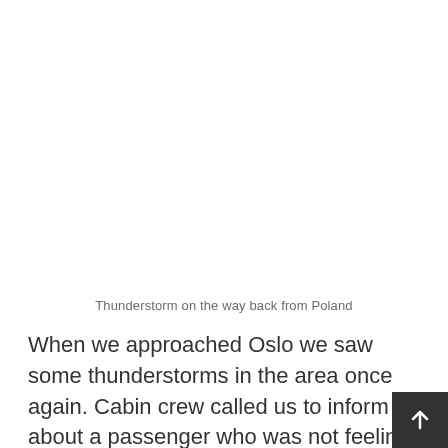Thunderstorm on the way back from Poland
When we approached Oslo we saw some thunderstorms in the area once again. Cabin crew called us to inform about a passenger who was not feeling well, but it was not a life threatening